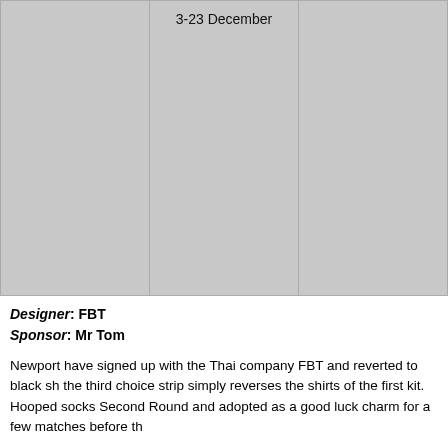[Figure (photo): Three gray placeholder image cells in a row. The middle cell has the text '3-23 December' at the top center.]
Designer: FBT
Sponsor: Mr Tom
Newport have signed up with the Thai company FBT and reverted to black sh the third choice strip simply reverses the shirts of the first kit. Hooped socks Second Round and adopted as a good luck charm for a few matches before th
(Robert Healey, Robert Morgan, David King)